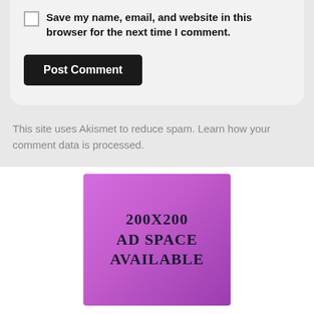Save my name, email, and website in this browser for the next time I comment.
Post Comment
This site uses Akismet to reduce spam. Learn how your comment data is processed.
[Figure (illustration): Purple/pink gradient ad placeholder box with text reading '200X200 AD SPACE AVAILABLE' in a hand-drawn style font]